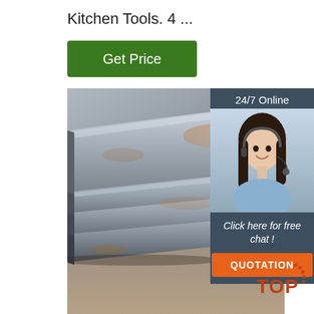Kitchen Tools. 4 ...
[Figure (other): Green 'Get Price' button]
[Figure (photo): Stacked steel/metal plates or sheets photographed at an angle on a concrete floor]
[Figure (other): 24/7 Online chat widget with agent photo, 'Click here for free chat!' text, and orange QUOTATION button]
[Figure (logo): TOP badge/watermark in bottom right corner]